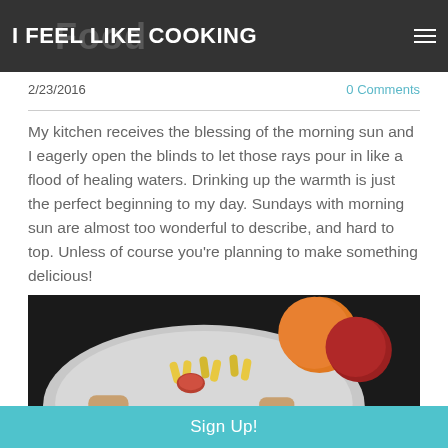I FEEL LIKE COOKING
2/23/2016
0 Comments
My kitchen receives the blessing of the morning sun and I eagerly open the blinds to let those rays pour in like a flood of healing waters. Drinking up the warmth is just the perfect beginning to my day. Sundays with morning sun are almost too wonderful to describe, and hard to top. Unless of course you're planning to make something delicious!
[Figure (photo): Close-up photo of a white plate with pasta and sausage pieces, with an orange and red tomato in the background, dark background]
Sign Up!